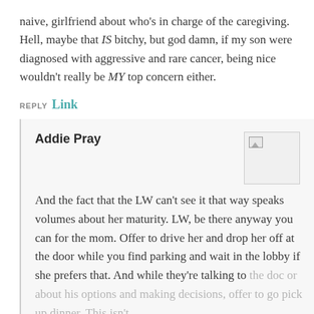naive, girlfriend about who's in charge of the caregiving. Hell, maybe that IS bitchy, but god damn, if my son were diagnosed with aggressive and rare cancer, being nice wouldn't really be MY top concern either.
REPLY Link
Addie Pray
And the fact that the LW can't see it that way speaks volumes about her maturity. LW, be there anyway you can for the mom. Offer to drive her and drop her off at the door while you find parking and wait in the lobby if she prefers that. And while they're talking to the doc or about his options and making decisions, offer to go pick up dinner. This isn't